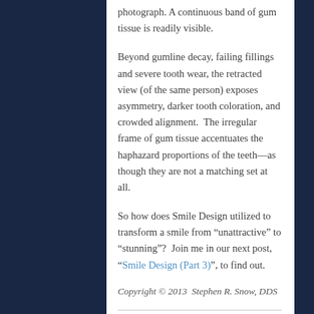photograph. A continuous band of gum tissue is readily visible.
Beyond gumline decay, failing fillings and severe tooth wear, the retracted view (of the same person) exposes asymmetry, darker tooth coloration, and crowded alignment.  The irregular frame of gum tissue accentuates the haphazard proportions of the teeth—as though they are not a matching set at all.
So how does Smile Design utilized to transform a smile from “unattractive” to “stunning”?  Join me in our next post, “Smile Design (Part 3)”, to find out.
Copyright © 2013  Stephen R. Snow, DDS
← OLDER POSTS